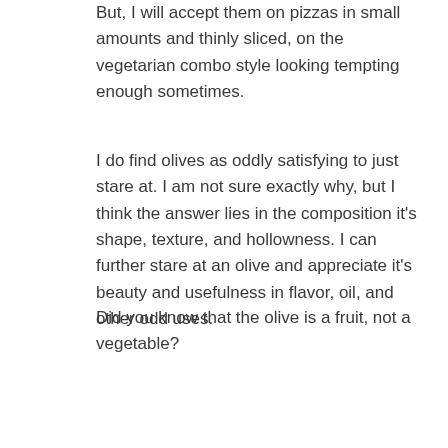But, I will accept them on pizzas in small amounts and thinly sliced, on the vegetarian combo style looking tempting enough sometimes.
I do find olives as oddly satisfying to just stare at. I am not sure exactly why, but I think the answer lies in the composition it's shape, texture, and hollowness. I can further stare at an olive and appreciate it's beauty and usefulness in flavor, oil, and other odd uses.
Did you know that the olive is a fruit, not a vegetable? They come in different color hues. The color of each olive depends on its stage of growth. Unripe fruit is green. Ripe fruit ranges from dark purple to black. Olives are hollow as each originally had a stone stem plucked out.
Olives are also big sources of minerals and vitamins A, B, E, K, B. These are low in sugar, but high in oil.
So, I did a morning visit to the big Public Market on